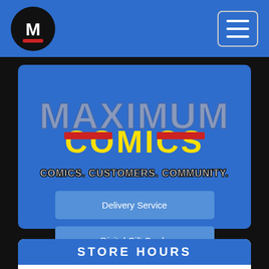[Figure (logo): Maximum Comics circular logo with M in white on black background]
[Figure (screenshot): Hamburger menu button (three horizontal lines) in a rounded square outline]
[Figure (logo): Maximum Comics stylized logo text with MAXIMUM in silver/grey and COMICS in yellow, with red underline bars]
COMICS. CUSTOMERS. COMMUNITY.
Delivery Service
Digital Gift Cards
STORE HOURS